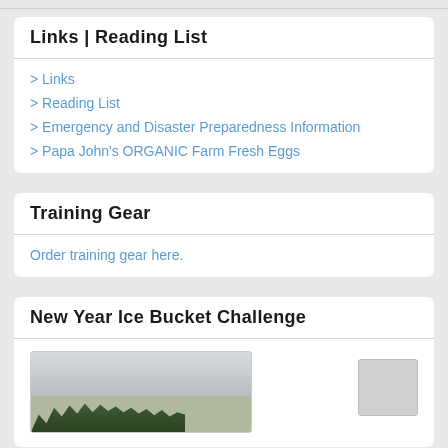Links | Reading List
> Links
> Reading List
> Emergency and Disaster Preparedness Information
> Papa John's ORGANIC Farm Fresh Eggs
Training Gear
Order training gear here.
New Year Ice Bucket Challenge
[Figure (photo): Outdoor landscape photo showing forested mountains with dark evergreen trees against an overcast grey sky. A smaller thumbnail placeholder image appears to the right.]